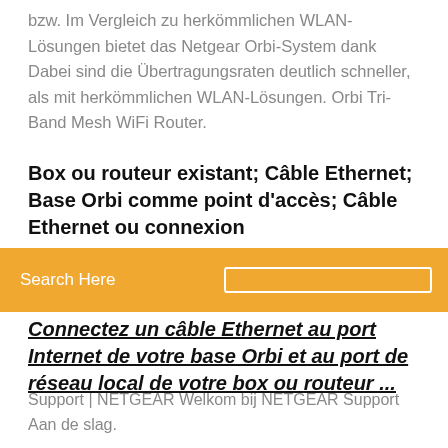bzw. Im Vergleich zu herkömmlichen WLAN-Lösungen bietet das Netgear Orbi-System dank Dabei sind die Übertragungsraten deutlich schneller, als mit herkömmlichen WLAN-Lösungen. Orbi Tri-Band Mesh WiFi Router.
Box ou routeur existant; Câble Ethernet; Base Orbi comme point d'accès; Câble Ethernet ou connexion
Search Here
Connectez un câble Ethernet au port Internet de votre base Orbi et au port de réseau local de votre box ou routeur ...
Support | NETGEAR Welkom bij NETGEAR Support Aan de slag. Als u uw model selecteert, kunnen wij onze ondersteuningssite op u afstemmen. Hoe vindt u uw modelnummer? Om het model-/versienummer van een apparaat te vinden, kijkt u onderop of op de achterzijde. Voorbeeld: Uw modelnummer vinden. Hoe vindt u uw modelnummer. Selecteer hieronder een categorie om te zoeken naar je productmodel. WiFi-routers .